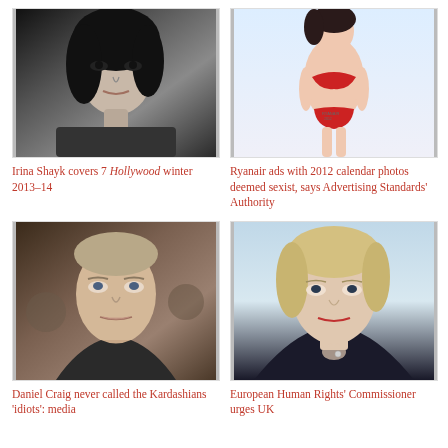[Figure (photo): Black and white close-up portrait of Irina Shayk, model, dark hair]
Irina Shayk covers 7 Hollywood winter 2013–14
[Figure (photo): Color photo of a woman in red bikini, Ryanair 2012 calendar]
Ryanair ads with 2012 calendar photos deemed sexist, says Advertising Standards' Authority
[Figure (photo): Close-up color photo of Daniel Craig]
Daniel Craig never called the Kardashians 'idiots': media
[Figure (photo): Color photo of European Human Rights Commissioner, blonde woman in dark jacket]
European Human Rights' Commissioner urges UK